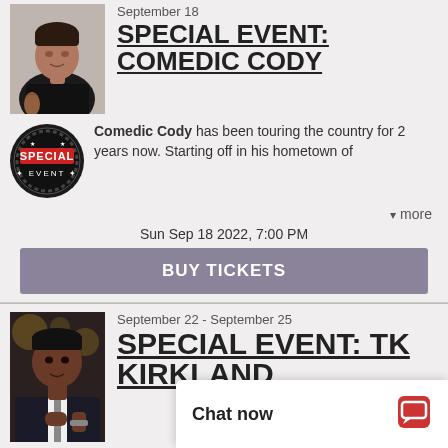September 18
SPECIAL EVENT: COMEDIC CODY
[Figure (photo): Photo of Comedic Cody, a young man in dark clothing seated]
[Figure (logo): Special Event circular badge logo]
Comedic Cody has been touring the country for 2 years now. Starting off in his hometown of
▾ more
Sun Sep 18 2022, 7:00 PM
BUY TICKETS
September 22 - September 25
SPECIAL EVENT: TK KIRKLAND
[Figure (photo): Photo of Terence TK Kirkland, an older Black man in a suit]
[Figure (logo): Special Event circular badge logo]
Terence 'TK' Kirkland is a well-
Chat now